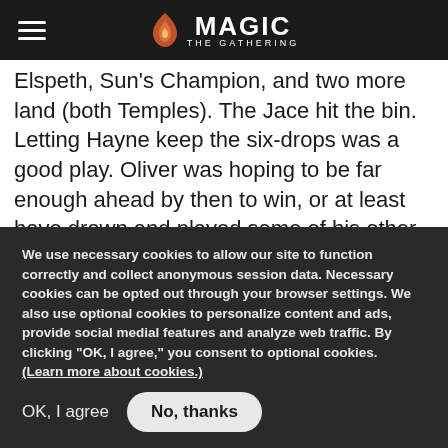Magic: The Gathering navigation bar with hamburger menu and logo
Elspeth, Sun's Champion, and two more land (both Temples). The Jace hit the bin. Letting Hayne keep the six-drops was a good play. Oliver was hoping to be far enough ahead by then to win, or at least have drawn and played some of his other discard spells to take them later.

Oliver went for a second-turn Pack Rat ,
We use necessary cookies to allow our site to function correctly and collect anonymous session data. Necessary cookies can be opted out through your browser settings. We also use optional cookies to personalize content and ads, provide social medial features and analyze web traffic. By clicking “OK, I agree,” you consent to optional cookies. (Learn more about cookies.)
OK, I agree
No, thanks